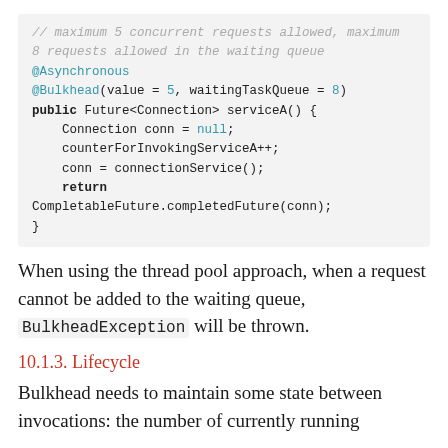[Figure (screenshot): Code block showing Java annotations and method: comment about maximum 5 concurrent requests, maximum 8 requests in waiting queue; @Asynchronous; @Bulkhead(value = 5, waitingTaskQueue = 8); public Future<Connection> serviceA() { Connection conn = null; counterForInvokingServiceA++; conn = connectionService(); return CompletableFuture.completedFuture(conn); }]
When using the thread pool approach, when a request cannot be added to the waiting queue, BulkheadException will be thrown.
10.1.3. Lifecycle
Bulkhead needs to maintain some state between invocations: the number of currently running connections, the queue of waiting connections. This